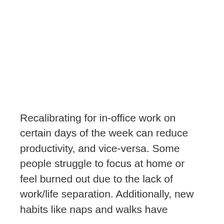Recalibrating for in-office work on certain days of the week can reduce productivity, and vice-versa. Some people struggle to focus at home or feel burned out due to the lack of work/life separation. Additionally, new habits like naps and walks have